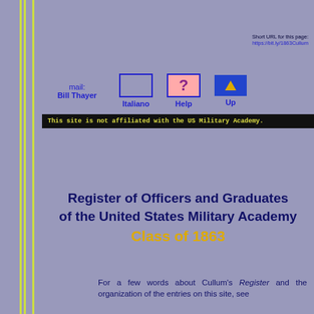Short URL for this page: https://bit.ly/1863Cullum
[Figure (screenshot): Navigation bar with mail link to Bill Thayer, Italiano button, Help button with question mark, and Up button with arrow]
This site is not affiliated with the US Military Academy.
Register of Officers and Graduates of the United States Military Academy Class of 1863
For a few words about Cullum's Register and the organization of the entries on this site, see